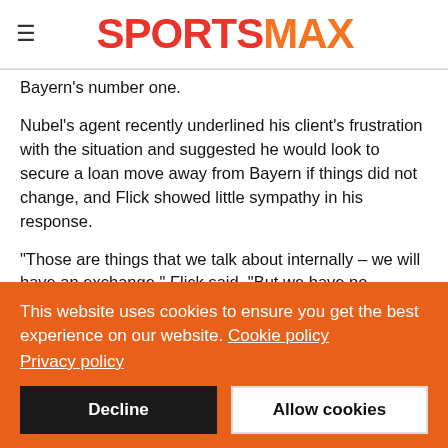SPORTSMAX
Bayern's number one.
Nubel's agent recently underlined his client's frustration with the situation and suggested he would look to secure a loan move away from Bayern if things did not change, and Flick showed little sympathy in his response.
"Those are things that we talk about internally – we will have an exchange," Flick said. "But we have no business talking about that here.
This website uses cookies to ensure you get the best experience on our website. Cookie policy
Privacy policy
Decline
Allow cookies